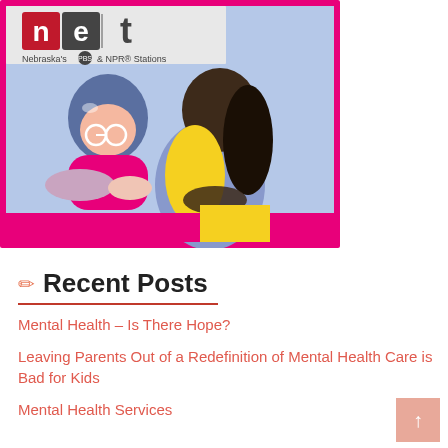[Figure (illustration): NET Nebraska PBS & NPR Stations logo at top left with illustrated figures: a person with glasses and blue hair wearing a magenta shirt crossing arms, and two dark-skinned figures hugging each other, one wearing yellow. Light blue background with magenta accent at bottom. The illustration is framed with a magenta border.]
✏ Recent Posts
Mental Health – Is There Hope?
Leaving Parents Out of a Redefinition of Mental Health Care is Bad for Kids
Mental Health Services